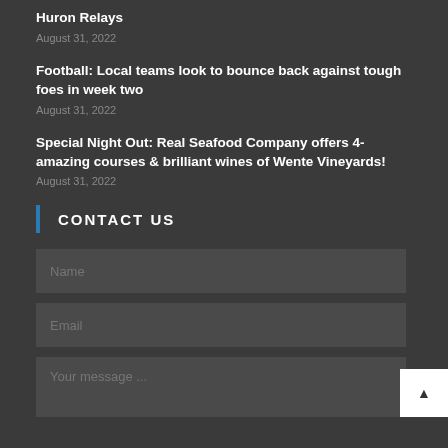Huron Relays
August 31, 2022
Football: Local teams look to bounce back against tough foes in week two
August 31, 2022
Special Night Out: Real Seafood Company offers 4-amazing courses & brilliant wines of Wente Vineyards!
August 31, 2022
CONTACT US
Name
Email
Your message ...